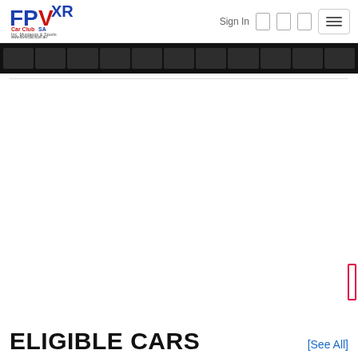[Figure (logo): FPVXR Car Club SA logo — bold blue and red lettering with 'Inc. Mustangs & Sports' subtitle and website www.fpvxrclub.com.au]
Sign In
[Figure (screenshot): Dark navigation menu banner with multiple grey nav item boxes on black background]
ELIGIBLE CARS
[See All]